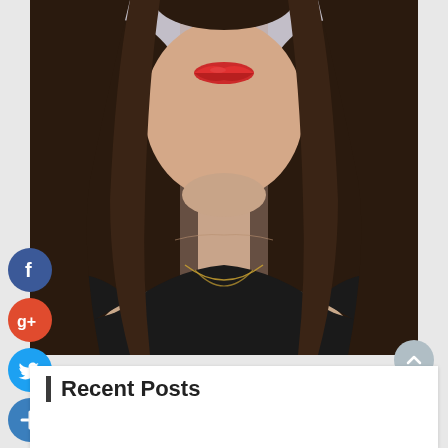[Figure (photo): Portrait photo of a woman with long dark hair, red lipstick, wearing a black top and gold necklace, smiling slightly, against a grey background. Social media share buttons (Facebook, Google+, Twitter, plus) overlaid on the left side.]
Recent Posts